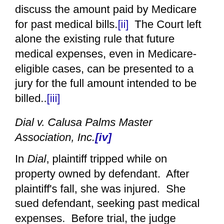discuss the amount paid by Medicare for past medical bills.[ii]  The Court left alone the existing rule that future medical expenses, even in Medicare-eligible cases, can be presented to a jury for the full amount intended to be billed..[iii]
Dial v. Calusa Palms Master Association, Inc.[iv]
In Dial, plaintiff tripped while on property owned by defendant.  After plaintiff's fall, she was injured.  She sued defendant, seeking past medical expenses.  Before trial, the judge granted a motion in limine which "precluded… [plaintiff]…from introducing as evidence the gross amount of her past medical expenses and limited her to introducing only the discounted amounts paid by Medicare."[v]